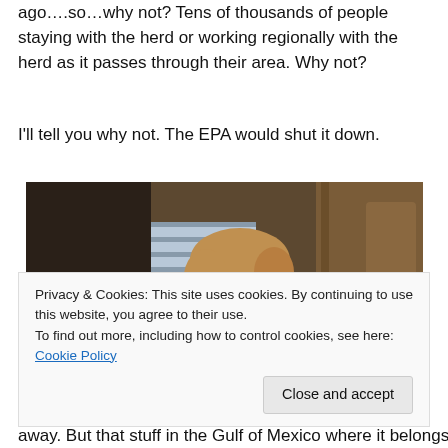ago….so…why not? Tens of thousands of people staying with the herd or working regionally with the herd as it passes through their area. Why not?
I'll tell you why not. The EPA would shut it down.
[Figure (photo): A man with reddish-blond hair in a dark suit and tie, looking towards camera, with wooden paneling visible in background.]
Privacy & Cookies: This site uses cookies. By continuing to use this website, you agree to their use.
To find out more, including how to control cookies, see here: Cookie Policy
away. But that stuff in the Gulf of Mexico where it belongs!